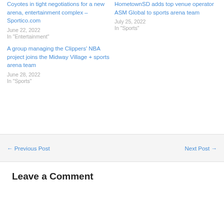Coyotes in tight negotiations for a new arena, entertainment complex – Sportico.com
June 22, 2022
In "Entertainment"
HometownSD adds top venue operator ASM Global to sports arena team
July 25, 2022
In "Sports"
A group managing the Clippers' NBA project joins the Midway Village + sports arena team
June 28, 2022
In "Sports"
← Previous Post
Next Post →
Leave a Comment